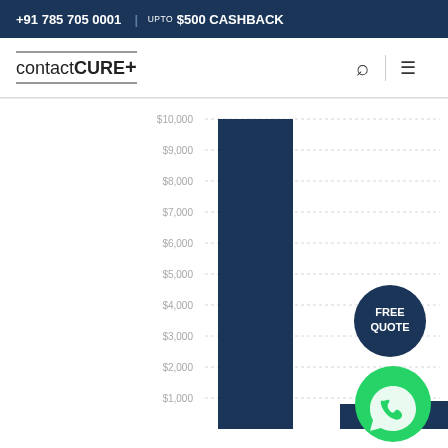+91 785 705 0001  |  UPTO $500 CASHBACK
[Figure (logo): contactCURE+ logo with search and menu icons]
[Figure (bar-chart): Cost comparison chart]